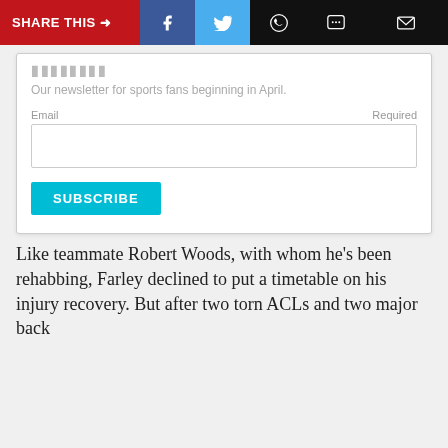SHARE THIS → f (Twitter) (WhatsApp) (Message) (Email)
Newsletter (partially visible)
Our newsletter for sports fans beginning in April.
Email  Required
SUBSCRIBE
Like teammate Robert Woods, with whom he's been rehabbing, Farley declined to put a timetable on his injury recovery. But after two torn ACLs and two major back